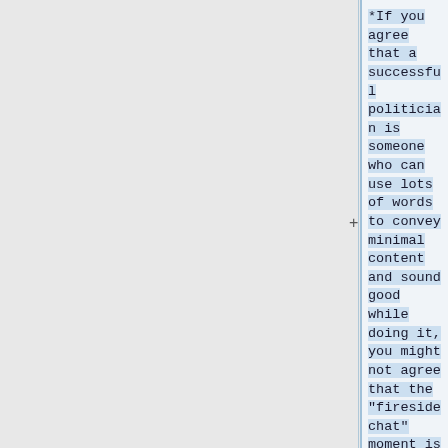*If you agree that a successful politician is someone who can use lots of words to convey minimal content and sound good while doing it, you might not agree that the "fireside chat" moment is inevitable.